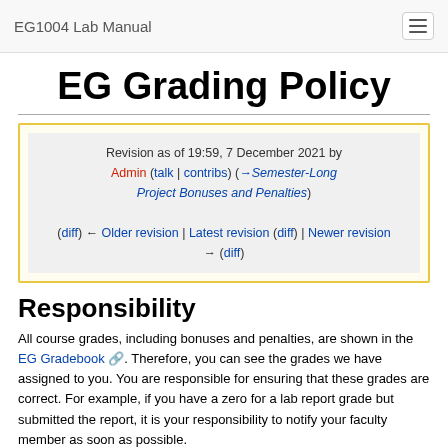EG1004 Lab Manual
EG Grading Policy
Revision as of 19:59, 7 December 2021 by Admin (talk | contribs) (→Semester-Long Project Bonuses and Penalties)
(diff) ← Older revision | Latest revision (diff) | Newer revision → (diff)
Responsibility
All course grades, including bonuses and penalties, are shown in the EG Gradebook. Therefore, you can see the grades we have assigned to you. You are responsible for ensuring that these grades are correct. For example, if you have a zero for a lab report grade but submitted the report, it is your responsibility to notify your faculty member as soon as possible.